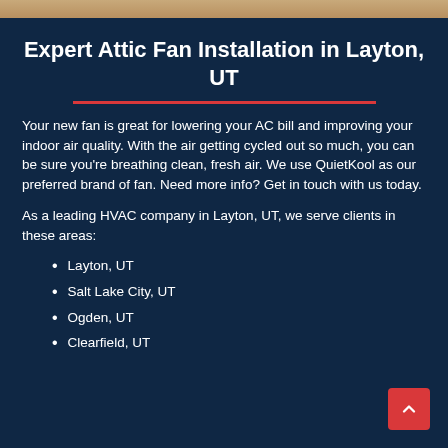Expert Attic Fan Installation in Layton, UT
Your new fan is great for lowering your AC bill and improving your indoor air quality. With the air getting cycled out so much, you can be sure you're breathing clean, fresh air. We use QuietKool as our preferred brand of fan. Need more info? Get in touch with us today.
As a leading HVAC company in Layton, UT, we serve clients in these areas:
Layton, UT
Salt Lake City, UT
Ogden, UT
Clearfield, UT